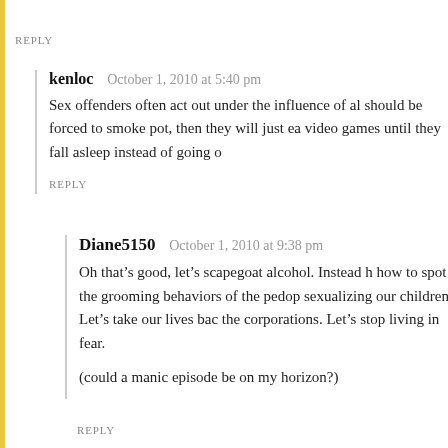REPLY
kenloc   October 1, 2010 at 5:40 pm
Sex offenders often act out under the influence of al should be forced to smoke pot, then they will just ea video games until they fall asleep instead of going o
REPLY
Diane5150   October 1, 2010 at 9:38 pm
Oh that's good, let's scapegoat alcohol. Instead h how to spot the grooming behaviors of the pedop sexualizing our children. Let's take our lives bac the corporations. Let's stop living in fear.
(could a manic episode be on my horizon?)
REPLY